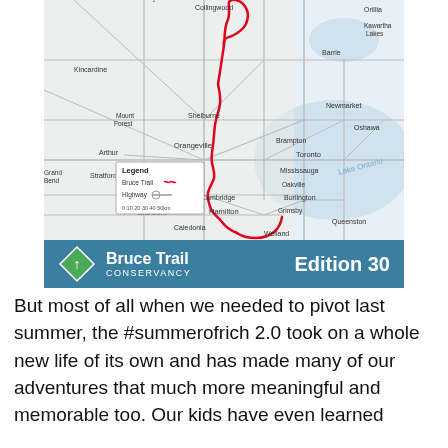[Figure (map): Map of the Bruce Trail route in Ontario, Canada, shown as a red line running from Queenston in the south through Hamilton, Grimsby, Oakville, Mississauga, Brampton, Toronto area, up through Guelph, Cambridge, Orangeville, Shelburne, to Collingwood in the north. Major cities and highways labeled. Legend shows Bruce Trail (red line) and Highway symbols with scale bar.]
But most of all when we needed to pivot last summer, the #summerofrich 2.0 took on a whole new life of its own and has made many of our adventures that much more meaningful and memorable too. Our kids have even learned